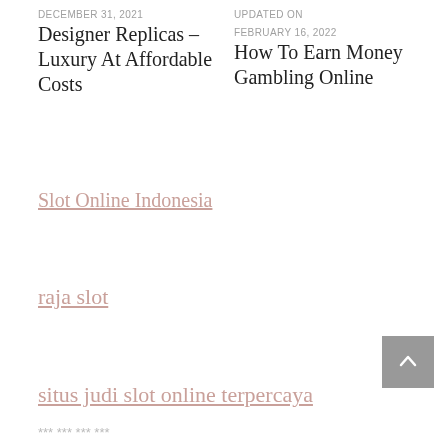DECEMBER 31, 2021
UPDATED ON FEBRUARY 16, 2022
Designer Replicas – Luxury At Affordable Costs
How To Earn Money Gambling Online
Slot Online Indonesia
raja slot
situs judi slot online terpercaya